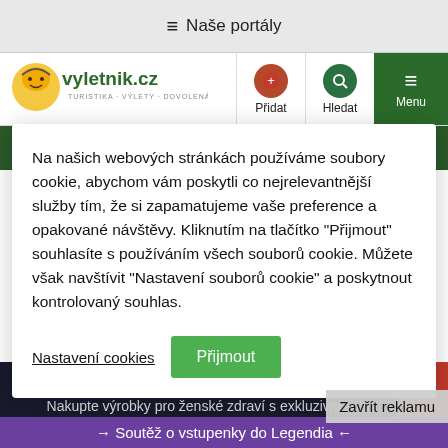≡ Naše portály
[Figure (logo): vyletnik.cz logo with cartoon character and text TURISTIKA · VÝLETY · DOVOLENÁ]
Významní partneři Výletníka
Na našich webových stránkách používáme soubory cookie, abychom vám poskytli co nejrelevantnější služby tím, že si zapamatujeme vaše preference a opakované návštěvy. Kliknutím na tlačítko "Přijmout" souhlasíte s používáním všech souborů cookie. Můžete však navštívit "Nastavení souborů cookie" a poskytnout kontrolovaný souhlas.
Nastavení cookies  Přijmout
Zavřít reklamu
Akce tianDe ženské zdraví
Nakupte výrobky pro ženské zdraví s exkluzivní
→ Soutěž o vstupenky do Legendia ←